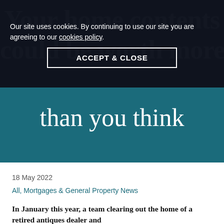Our site uses cookies. By continuing to use our site you are agreeing to our cookies policy.
ACCEPT & CLOSE
Your home contents could be worth more than you think
18 May 2022
All, Mortgages & General Property News
In January this year, a team clearing out the home of a retired antiques dealer and